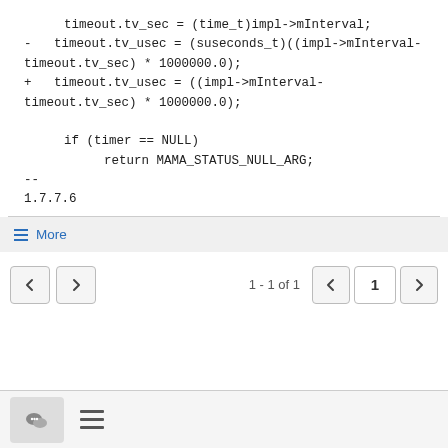timeout.tv_sec = (time_t)impl->mInterval;
-   timeout.tv_usec = (suseconds_t)((impl->mInterval-timeout.tv_sec) * 1000000.0);
+   timeout.tv_usec = ((impl->mInterval-timeout.tv_sec) * 1000000.0);

    if (timer == NULL)
        return MAMA_STATUS_NULL_ARG;
--
1.7.7.6
≡ More
← →  1 - 1 of 1  < 1 >